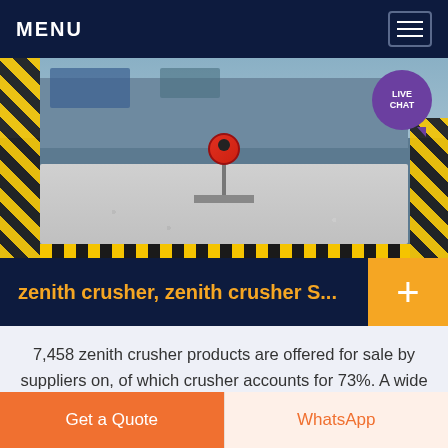MENU
[Figure (photo): Industrial stone crushing equipment on a factory floor with yellow safety striping, gravel/crushed stone visible, machinery with red and orange components, blue and yellow painted walls]
zenith crusher, zenith crusher S...
7,458 zenith crusher products are offered for sale by suppliers on, of which crusher accounts for 73%. A wide variety of zenith crusher options are available to you, such as 1 year. You can also choose from india, egypt zenith crusher, as well as from easy to
Get a Quote    WhatsApp